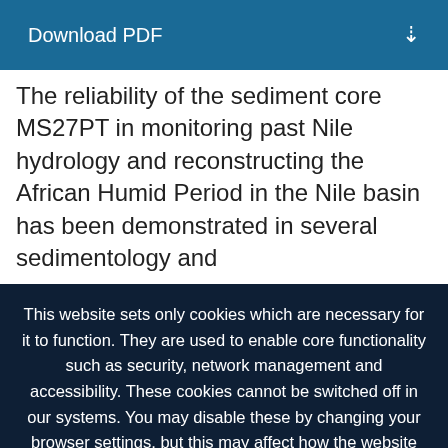[Figure (other): Download PDF button bar with teal/blue background and download icon]
The reliability of the sediment core MS27PT in monitoring past Nile hydrology and reconstructing the African Humid Period in the Nile basin has been demonstrated in several sedimentology and
This website sets only cookies which are necessary for it to function. They are used to enable core functionality such as security, network management and accessibility. These cookies cannot be switched off in our systems. You may disable these by changing your browser settings, but this may affect how the website functions. Please view our privacy policy for further details on how we process your information. Dismiss